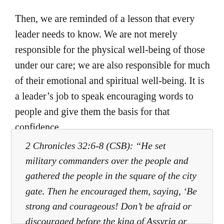Then, we are reminded of a lesson that every leader needs to know. We are not merely responsible for the physical well-being of those under our care; we are also responsible for much of their emotional and spiritual well-being. It is a leader's job to speak encouraging words to people and give them the basis for that confidence.
2 Chronicles 32:6-8 (CSB): “He set military commanders over the people and gathered the people in the square of the city gate. Then he encouraged them, saying, ‘Be strong and courageous! Don’t be afraid or discouraged before the king of Assyria or before the large